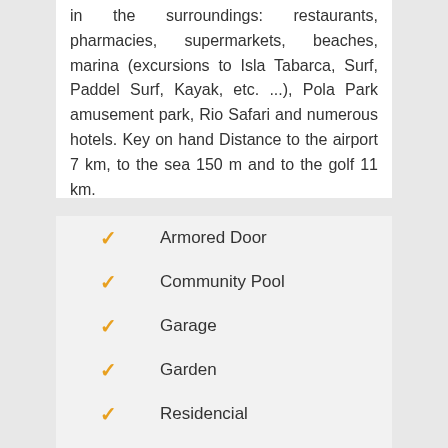in the surroundings: restaurants, pharmacies, supermarkets, beaches, marina (excursions to Isla Tabarca, Surf, Paddel Surf, Kayak, etc. ...), Pola Park amusement park, Rio Safari and numerous hotels. Key on hand Distance to the airport 7 km, to the sea 150 m and to the golf 11 km.
Armored Door
Community Pool
Garage
Garden
Residencial
Solarium
Terrace